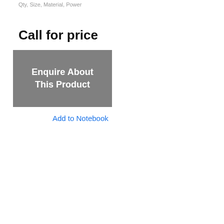Qty, Size, Material, Power
Call for price
[Figure (other): Gray button with white text reading 'Enquire About This Product']
Add to Notebook